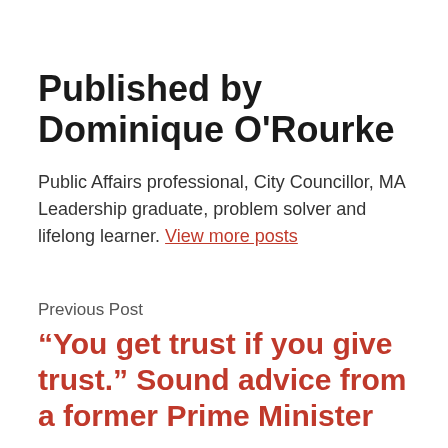Published by Dominique O'Rourke
Public Affairs professional, City Councillor, MA Leadership graduate, problem solver and lifelong learner. View more posts
Previous Post
“You get trust if you give trust.” Sound advice from a former Prime Minister